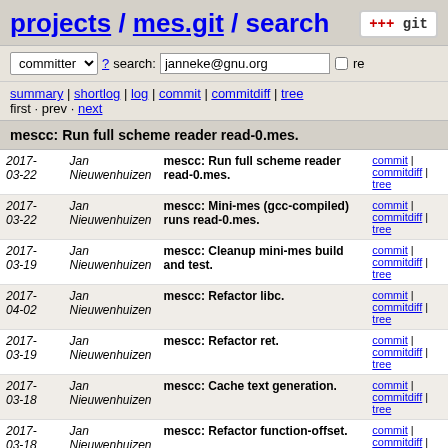projects / mes.git / search
committer ▾  ? search: janneke@gnu.org  □ re
summary | shortlog | log | commit | commitdiff | tree
first · prev · next
mescc: Run full scheme reader read-0.mes.
| Date | Author | Message | Links |
| --- | --- | --- | --- |
| 2017-03-22 | Jan Nieuwenhuizen | mescc: Run full scheme reader read-0.mes. | commit | commitdiff | tree |
| 2017-03-22 | Jan Nieuwenhuizen | mescc: Mini-mes (gcc-compiled) runs read-0.mes. | commit | commitdiff | tree |
| 2017-03-19 | Jan Nieuwenhuizen | mescc: Cleanup mini-mes build and test. | commit | commitdiff | tree |
| 2017-04-02 | Jan Nieuwenhuizen | mescc: Refactor libc. | commit | commitdiff | tree |
| 2017-03-19 | Jan Nieuwenhuizen | mescc: Refactor ret. | commit | commitdiff | tree |
| 2017-03-18 | Jan Nieuwenhuizen | mescc: Cache text generation. | commit | commitdiff | tree |
| 2017-03-18 | Jan Nieuwenhuizen | mescc: Refactor function-offset. | commit | commitdiff | tree |
| 2017-03-18 | Jan Nieuwenhuizen | mescc: Cache data-offset too. | commit | commitdiff | tree |
| 2017-03-18 | Jan Nieuwenhuizen | mescc: Support assignment | commit | commitdiff |